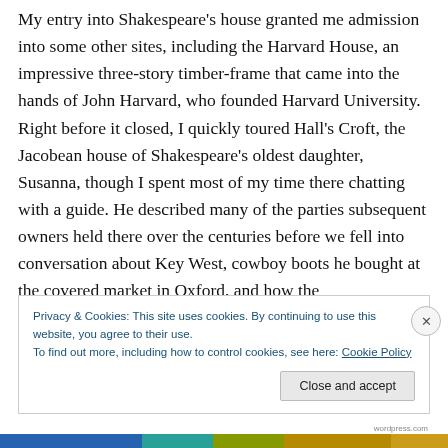My entry into Shakespeare's house granted me admission into some other sites, including the Harvard House, an impressive three-story timber-frame that came into the hands of John Harvard, who founded Harvard University. Right before it closed, I quickly toured Hall's Croft, the Jacobean house of Shakespeare's oldest daughter, Susanna, though I spent most of my time there chatting with a guide. He described many of the parties subsequent owners held there over the centuries before we fell into conversation about Key West, cowboy boots he bought at the covered market in Oxford, and how the
Privacy & Cookies: This site uses cookies. By continuing to use this website, you agree to their use.
To find out more, including how to control cookies, see here: Cookie Policy
Close and accept